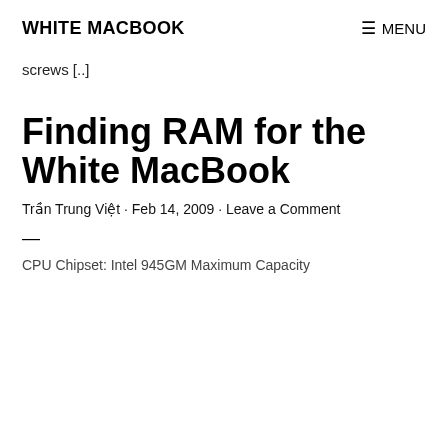WHITE MACBOOK   ☰ MENU
screws [..]
Finding RAM for the White MacBook
Trần Trung Việt · Feb 14, 2009 · Leave a Comment
—
CPU Chipset: Intel 945GM Maximum Capacity